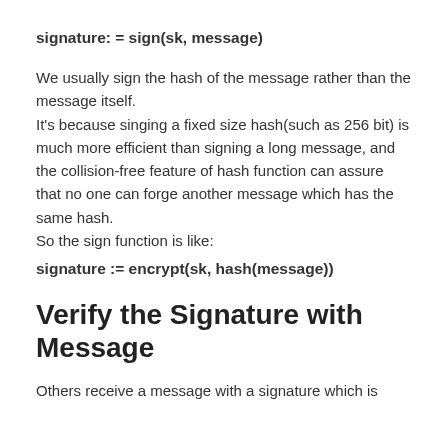signature: = sign(sk, message)
We usually sign the hash of the message rather than the message itself.
It's because singing a fixed size hash(such as 256 bit) is much more efficient than signing a long message, and the collision-free feature of hash function can assure that no one can forge another message which has the same hash.
So the sign function is like:
signature := encrypt(sk, hash(message))
Verify the Signature with Message
Others receive a message with a signature which is